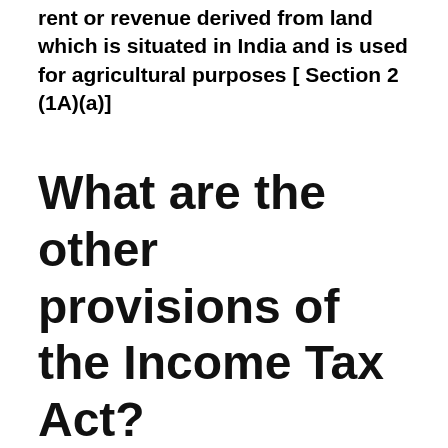rent or revenue derived from land which is situated in India and is used for agricultural purposes [ Section 2 (1A)(a)]
What are the other provisions of the Income Tax Act?
Other Provisions under the Income Tax Act: 1. Provisions of Section 40A (3): As per rule 6DD (e)of the Income Tax Rule, Provision of section 40A (3) is not applicable if cash payment in excess of Rs 10,000/- is paid for purchase of agricultural produce to a farmer